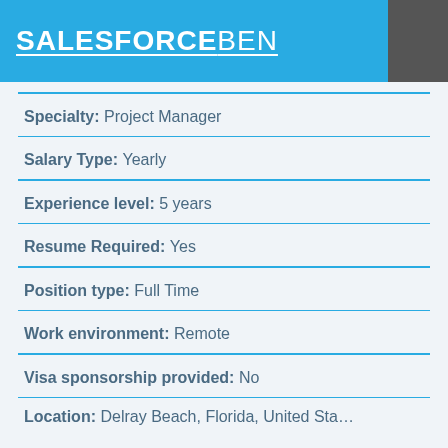SALESFORCEBEN
Specialty: Project Manager
Salary Type: Yearly
Experience level: 5 years
Resume Required: Yes
Position type: Full Time
Work environment: Remote
Visa sponsorship provided: No
Location: Delray Beach, Florida, United States